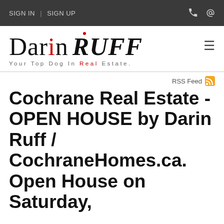SIGN IN | SIGN UP
[Figure (logo): Darin Ruff real estate logo with tagline 'Your Top Dog In Real Estate.']
RSS Feed
Cochrane Real Estate - OPEN HOUSE by Darin Ruff / CochraneHomes.ca. Open House on Saturday, Jul 27, 2013 0-00